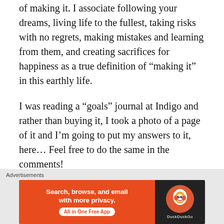of making it. I associate following your dreams, living life to the fullest, taking risks with no regrets, making mistakes and learning from them, and creating sacrifices for happiness as a true definition of “making it” in this earthly life.
I was reading a “goals” journal at Indigo and rather than buying it, I took a photo of a page of it and I’m going to put my answers to it, here… Feel free to do the same in the comments!
• How do you feel after spending this time working towards your goals?
Advertisements
[Figure (other): DuckDuckGo advertisement banner: orange section with text 'Search, browse, and email with more privacy. All in One Free App' and dark section with DuckDuckGo duck logo]